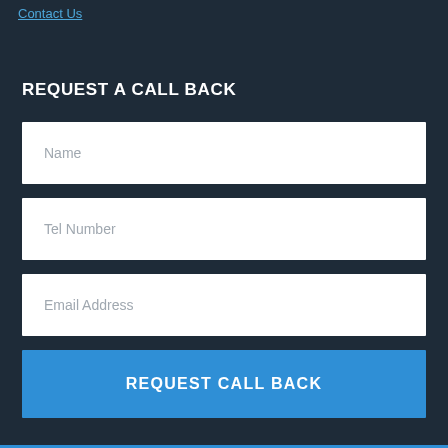Contact Us
REQUEST A CALL BACK
Name
Tel Number
Email Address
REQUEST CALL BACK